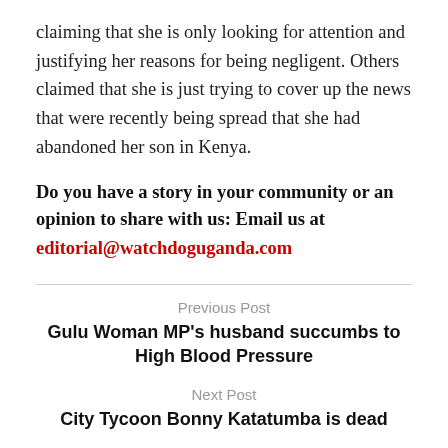claiming that she is only looking for attention and justifying her reasons for being negligent. Others claimed that she is just trying to cover up the news that were recently being spread that she had abandoned her son in Kenya.
Do you have a story in your community or an opinion to share with us: Email us at editorial@watchdoguganda.com
Previous Post
Gulu Woman MP's husband succumbs to High Blood Pressure
Next Post
City Tycoon Bonny Katatumba is dead